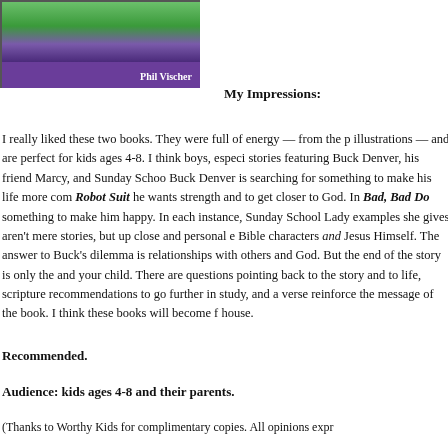[Figure (illustration): Book cover showing cartoon characters with 'Phil Vischer' credit on a purple banner at the bottom]
My Impressions:
I really liked these two books. They were full of energy — from the illustrations — and are perfect for kids ages 4-8. I think boys, especially, will love stories featuring Buck Denver, his friend Marcy, and Sunday School Lady. In each story, Buck Denver is searching for something to make his life more complete. In Buck Denver Asks... Why Do I Need a Robot Suit he wants strength and to get closer to God. In Bad, Bad Day he wants something to make him happy. In each instance, Sunday School Lady steps in and the examples she gives aren't mere stories, but up close and personal experiences with Bible characters and Jesus Himself. The answer to Buck's dilemma is found in healthy relationships with others and God. But the end of the story is only the beginning for you and your child. There are questions pointing back to the story and to your child's own life, scripture recommendations to go further in study, and a verse to memorize to reinforce the message of the book. I think these books will become favorites in your house.
Recommended.
Audience: kids ages 4-8 and their parents.
(Thanks to Worthy Kids for complimentary copies. All opinions expressed are my own.)